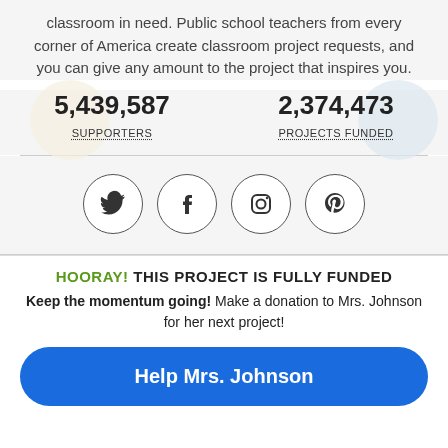classroom in need. Public school teachers from every corner of America create classroom project requests, and you can give any amount to the project that inspires you.
5,439,587 SUPPORTERS
2,374,473 PROJECTS FUNDED
[Figure (infographic): Four social media icons in circles: Twitter (bird), Facebook (f), Instagram (camera), Pinterest (P)]
HOORAY! THIS PROJECT IS FULLY FUNDED
Keep the momentum going! Make a donation to Mrs. Johnson for her next project!
Help Mrs. Johnson